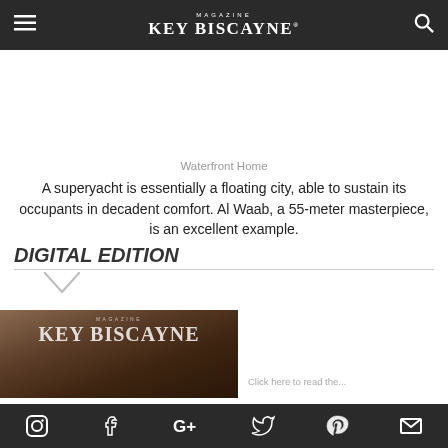MAGAZINE KEY BISCAYNE
Waterfront Home
A superyacht is essentially a floating city, able to sustain its occupants in decadent comfort. Al Waab, a 55-meter masterpiece, is an excellent example.
DIGITAL EDITION
[Figure (photo): Key Biscayne Magazine cover thumbnail showing the magazine title text]
Click here to read the...
Social media icons: Instagram, Facebook, Google+, Twitter, Pinterest, Email